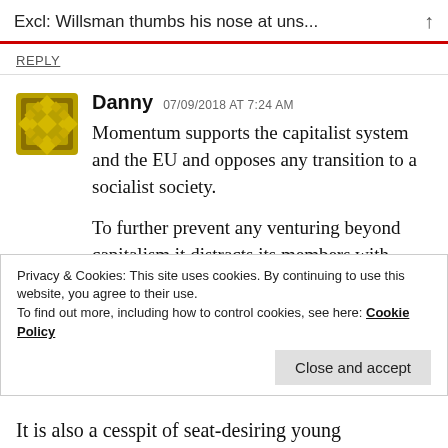Excl: Willsman thumbs his nose at uns…
REPLY
Danny  07/09/2018 AT 7:24 AM
Momentum supports the capitalist system and the EU and opposes any transition to a socialist society.

To further prevent any venturing beyond capitalism it distracts its members with pious
Privacy & Cookies: This site uses cookies. By continuing to use this website, you agree to their use.
To find out more, including how to control cookies, see here: Cookie Policy
Close and accept
It is also a cesspit of seat-desiring young